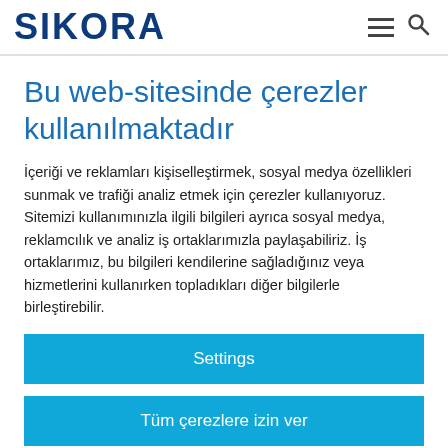SIKORA
Bu web-sitesinde çerezler kullanılmaktadır
İçeriği ve reklamları kişiselleştirmek, sosyal medya özellikleri sunmak ve trafiği analiz etmek için çerezler kullanıyoruz. Sitemizi kullanımınızla ilgili bilgileri ayrıca sosyal medya, reklamcılık ve analiz iş ortaklarımızla paylaşabiliriz. İş ortaklarımız, bu bilgileri kendilerine sağladığınız veya hizmetlerini kullanırken topladıkları diğer bilgilerle birleştirebilir.
Settings
Tüm çerezlere izin ver
Ayrıntıları göster